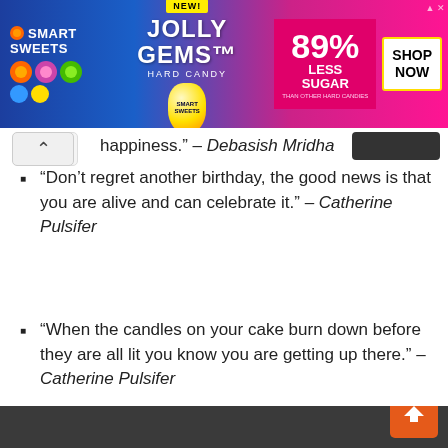[Figure (other): Smart Sweets Jolly Gems Hard Candy advertisement banner. '89% Less Sugar than other hard candies'. 'NEW!' badge. 'Shop Now' button.]
happiness." – Debasish Mridha (partial, clipped at top)
"Don't regret another birthday, the good news is that you are alive and can celebrate it." – Catherine Pulsifer
"When the candles on your cake burn down before they are all lit you know you are getting up there." – Catherine Pulsifer
"Today is the oldest you have been, and the youngest you will ever be. Make the most of it!" – Nicky Gumbel
"One of the many things nobody ever tells you about middle age is that it's such a (partial, clipped at bottom)
We use cookies to ensure that we give you the best experience on our website. If you continue to use this site we will assume that you are happy with it.
Ok  Privacy policy